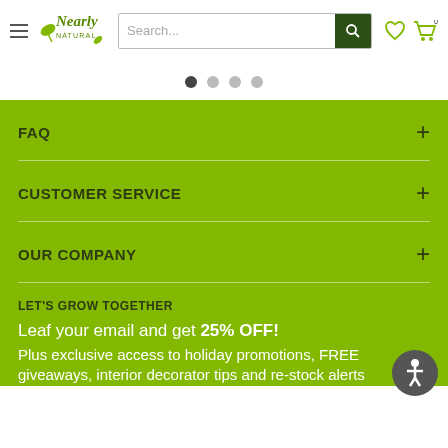[Figure (screenshot): Nearly Natural logo with green leaf icon and stylized italic text]
[Figure (screenshot): Search bar with dark green search button and magnifying glass icon]
[Figure (screenshot): Heart wishlist icon and shopping cart icon with 0 count]
[Figure (screenshot): Four dot carousel indicator with first dot filled dark]
FAQ
CUSTOMER SERVICE
OUR COMPANY
LET'S GROW TOGETHER
Leaf your email and get 25% OFF!
Plus exclusive access to holiday promotions, FREE giveaways, interior decorator tips and re-stock alerts